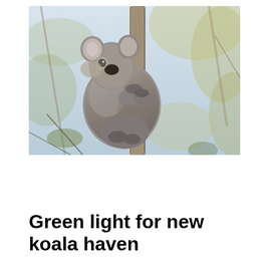[Figure (photo): A koala clinging to a eucalyptus tree branch in the wild, surrounded by eucalyptus leaves and branches. The koala has grey fluffy fur and is looking to the left.]
Green light for new koala haven